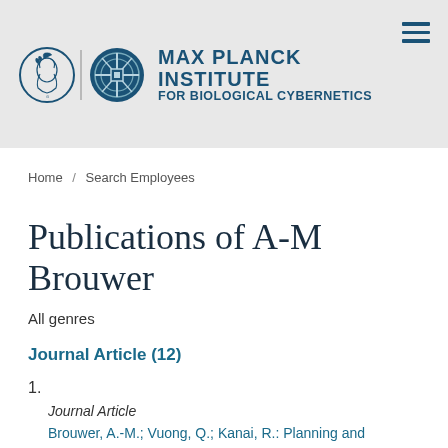[Figure (logo): Max Planck Institute for Biological Cybernetics logo: two circular emblems (classical profile and geometric design) with a vertical divider, followed by institute name in teal/navy bold uppercase text]
MAX PLANCK INSTITUTE FOR BIOLOGICAL CYBERNETICS
Home / Search Employees
Publications of A-M Brouwer
All genres
Journal Article (12)
1.
Journal Article
Brouwer, A.-M.; Vuong, Q.; Kanai, R.: Planning and